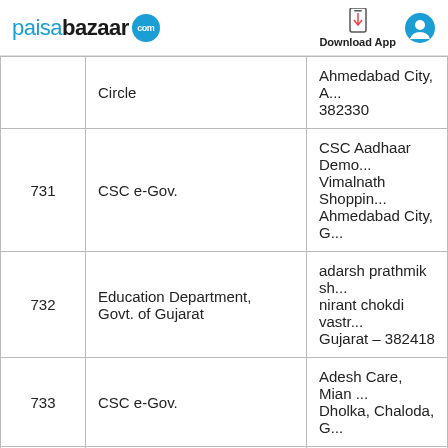paisabazaar.com — Download App
| # | Organization | Address |
| --- | --- | --- |
|  | Circle | Ahmedabad City, A... 382330 |
| 731 | CSC e-Gov. | CSC Aadhaar Demo... Vimalnath Shoppin... Ahmedabad City, G... |
| 732 | Education Department, Govt. of Gujarat | adarsh prathmik sh... nirant chokdi vastr... Gujarat – 382418 |
| 733 | CSC e-Gov. | Adesh Care, Mian ... Dholka, Chaloda, G... |
| 734 | DCB Bank | DCBL0000028, DC... ROAD OPP Z.K HO... City, Gujarat – 380... |